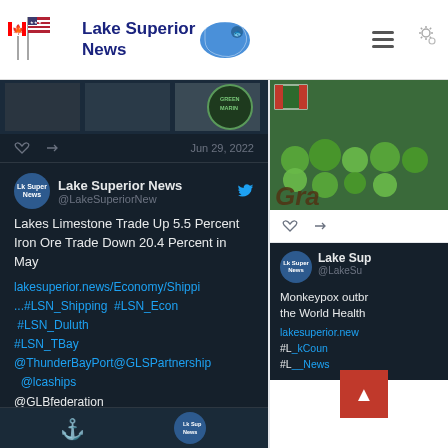[Figure (logo): Lake Superior News logo with US and Canadian flags, text 'Lake Superior News', and blue map of Lake Superior region]
[Figure (screenshot): Twitter/social media feed showing Lake Superior News tweets. First partial tweet shows Green Marine badge image. Second tweet by @LakeSuperiorNew dated Jun 29, 2022 reads: 'Lakes Limestone Trade Up 5.5 Percent Iron Ore Trade Down 20.4 Percent in May' with link lakesuperior.news/Economy/Shippi and hashtags #LSN_Shipping #LSN_Econ #LSN_Duluth #LSN_TBay and mentions @ThunderBayPort@GLSPartnership @lcaships @GLBfederation @greatlakestoday@cityofduluth@DuluthChamber. Right column shows partial tweet about Monkeypox outbreak and World Health with greenery/garden image.]